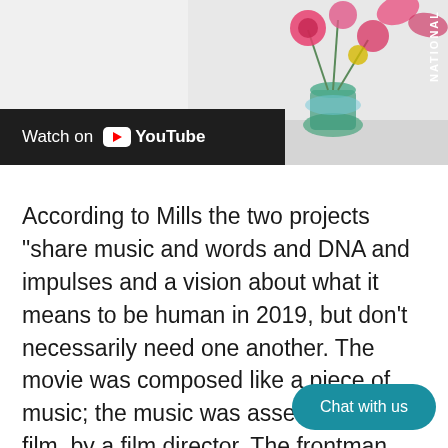[Figure (screenshot): YouTube video thumbnail with 'Watch on YouTube' bar overlay and floral/vase image on the right. A vertical 'NATIONAL' text label appears on the right side.]
According to Mills the two projects "share music and words and DNA and impulses and a vision about what it means to be human in 2019, but don't necessarily need one another. The movie was composed like a piece of music; the music was assembled like a film, by a film director. The frontman and natural focal point was deliberately and dramatically sidestaged in fav variety of female voices, nea whom have long been in the gr orbit. It is unlike anything either artist has